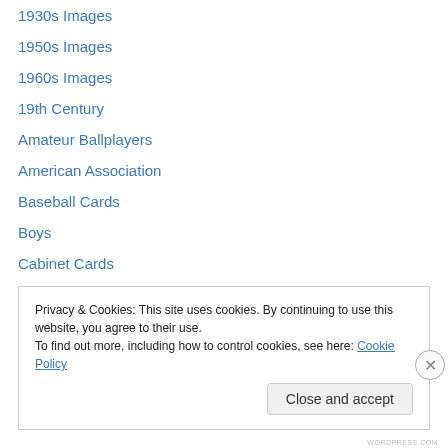1930s Images
1950s Images
1960s Images
19th Century
Amateur Ballplayers
American Association
Baseball Cards
Boys
Cabinet Cards
Catchers
Chicago Cubs
College players
Crowds
Privacy & Cookies: This site uses cookies. By continuing to use this website, you agree to their use.
To find out more, including how to control cookies, see here: Cookie Policy
Close and accept